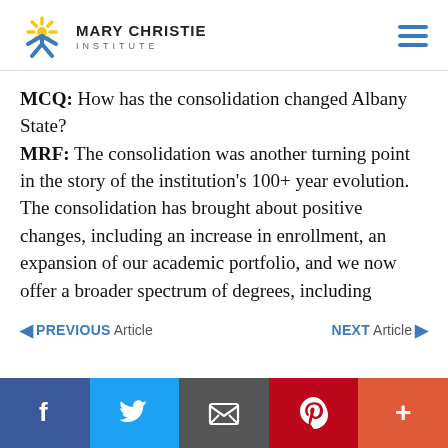Mary Christie Institute
MCQ: How has the consolidation changed Albany State? MRF: The consolidation was another turning point in the story of the institution's 100+ year evolution. The consolidation has brought about positive changes, including an increase in enrollment, an expansion of our academic portfolio, and we now offer a broader spectrum of degrees, including
PREVIOUS Article   NEXT Article